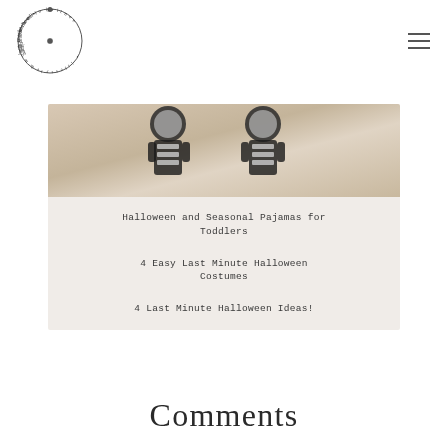hello britnee • lifestyle & motherhood
[Figure (photo): Close-up photo of two toddlers in black and white Halloween skeleton pajamas, cropped to show torsos]
Halloween and Seasonal Pajamas for Toddlers
4 Easy Last Minute Halloween Costumes
4 Last Minute Halloween Ideas!
Comments